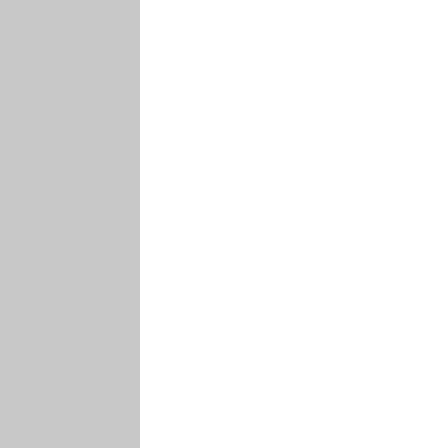reasons people called them "conservatives" was because they wanted to return to the good old glory days of the German people.

I would not let liberals dodge the Nazi/So tag that